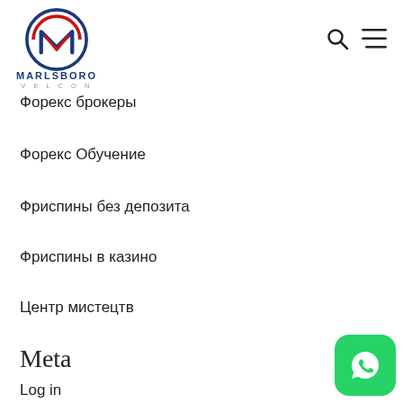[Figure (logo): Marlsboro Velcon logo with circular emblem in red and blue, company name below]
Форекс брокеры
Форекс Обучение
Фриспины без депозита
Фриспины в казино
Центр мистецтв
Meta
Log in
[Figure (logo): WhatsApp green icon button in bottom right corner]